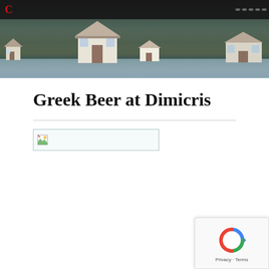[Figure (photo): Website header banner showing a waterfront scenic landscape with houses/buildings along a shoreline, dark background with navigation buttons at top. Includes a logo area at the top.]
Greek Beer at Dimicris
[Figure (photo): Broken image placeholder icon (image failed to load), shown as a small icon with torn image symbol in a light bordered box.]
[Figure (other): reCAPTCHA badge in bottom right corner showing the reCAPTCHA spinning arrows logo with 'Privacy - Terms' text below.]